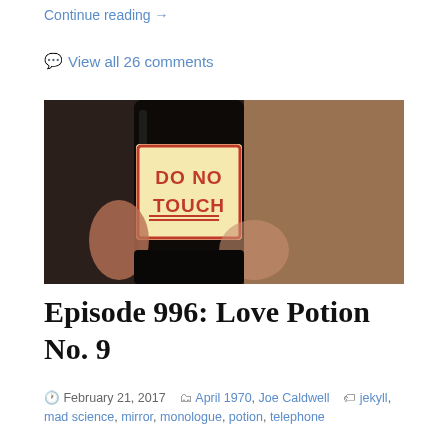Continue reading →
💬 View all 26 comments
[Figure (photo): Close-up photo of a dark bottle with a label reading 'DO NOT TOUCH' in red and white, held by a hand against a warm-toned blurred background.]
Episode 996: Love Potion No. 9
February 21, 2017   April 1970, Joe Caldwell   jekyll, mad science, mirror, monologue, potion, telephone